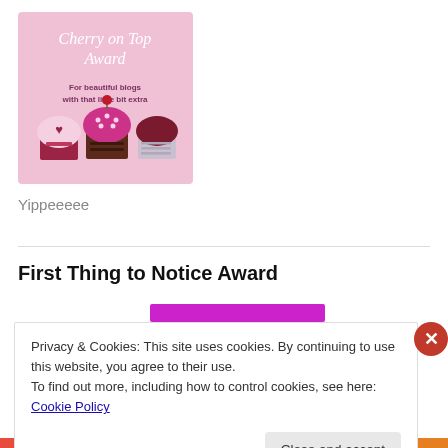[Figure (illustration): Cherry on Top Award badge: pink background with cupcakes and text 'Cherry on Top Award - For beautiful blogs with that little bit extra']
Yippeeeee
First Thing to Notice Award
[Figure (illustration): Partial award image with purple/magenta border visible at top]
Privacy & Cookies: This site uses cookies. By continuing to use this website, you agree to their use.
To find out more, including how to control cookies, see here: Cookie Policy
Close and accept